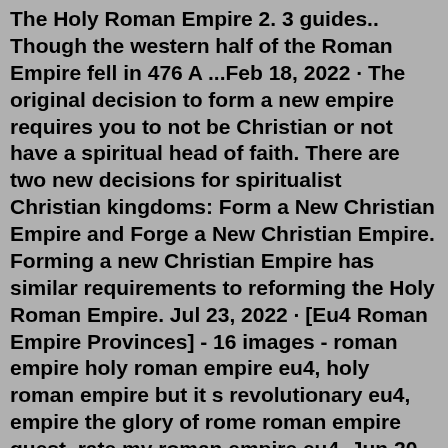The Holy Roman Empire 2. 3 guides.. Though the western half of the Roman Empire fell in 476 A ...Feb 18, 2022 · The original decision to form a new empire requires you to not be Christian or not have a spiritual head of faith. There are two new decisions for spiritualist Christian kingdoms: Form a New Christian Empire and Forge a New Christian Empire. Forming a new Christian Empire has similar requirements to reforming the Holy Roman Empire. Jul 23, 2022 · [Eu4 Roman Empire Provinces] - 16 images - roman empire holy roman empire eu4, holy roman empire but it s revolutionary eu4, empire the glory of rome roman empire quest, rate my roman empire eu4, Jun 20, 2013 · Despite encompassing an incredible five million-plus square kilometers by 117 AD, that vast expanse surely wouldn't be enjoyed for too much longer. As the empire expanded, the efficacy of its institutions contracted to the point that by 284 AD it was vulnerable to external attack and eventually collapsed. Remove Ads. In this Crusader Kings...